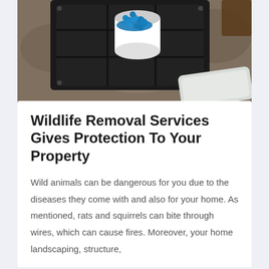[Figure (photo): Overhead photo showing a black plastic tray/container with a small white cup filled with blue pellets (likely rodent bait), set on a concrete/stone surface. A white rectangular object is partially visible in the lower right.]
Wildlife Removal Services Gives Protection To Your Property
Wild animals can be dangerous for you due to the diseases they come with and also for your home. As mentioned, rats and squirrels can bite through wires, which can cause fires. Moreover, your home landscaping, structure,